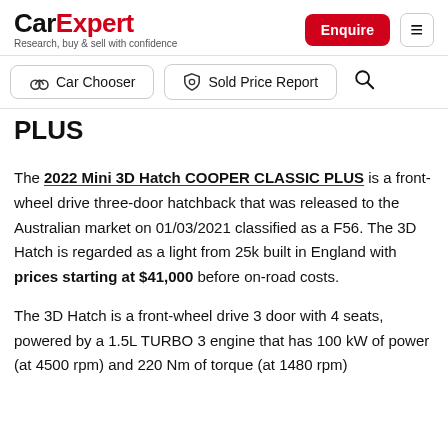CarExpert — Research, buy & sell with confidence
Car Chooser | Sold Price Report
PLUS
The 2022 Mini 3D Hatch COOPER CLASSIC PLUS is a front-wheel drive three-door hatchback that was released to the Australian market on 01/03/2021 classified as a F56. The 3D Hatch is regarded as a light from 25k built in England with prices starting at $41,000 before on-road costs.
The 3D Hatch is a front-wheel drive 3 door with 4 seats, powered by a 1.5L TURBO 3 engine that has 100 kW of power (at 4500 rpm) and 220 Nm of torque (at 1480 rpm)